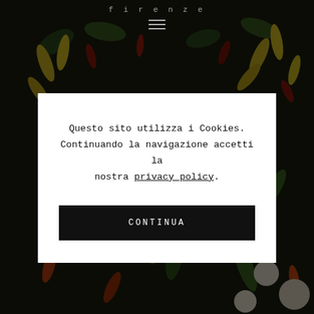[Figure (photo): Close-up photo of colorful mixed chili peppers and small round peppers in green, red, yellow, and orange colors, filling the entire frame. Overlaid with a dark semi-transparent layer. A navigation bar with a hamburger menu icon appears at the top.]
firenze
Questo sito utilizza i Cookies. Continuando la navigazione accetti la nostra privacy policy.
CONTINUA